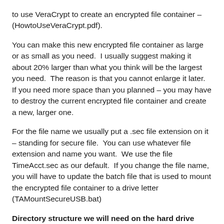to use VeraCrypt to create an encrypted file container – (HowtoUseVeraCrypt.pdf).
You can make this new encrypted file container as large or as small as you need.  I usually suggest making it about 20% larger than what you think will be the largest you need.  The reason is that you cannot enlarge it later.  If you need more space than you planned – you may have to destroy the current encrypted file container and create a new, larger one.
For the file name we usually put a .sec file extension on it – standing for secure file.  You can use whatever file extension and name you want.  We use the file TimeAcct.sec as our default.  If you change the file name, you will have to update the batch file that is used to mount the encrypted file container to a drive letter (TAMountSecureUSB.bat)
Directory structure we will need on the hard drive